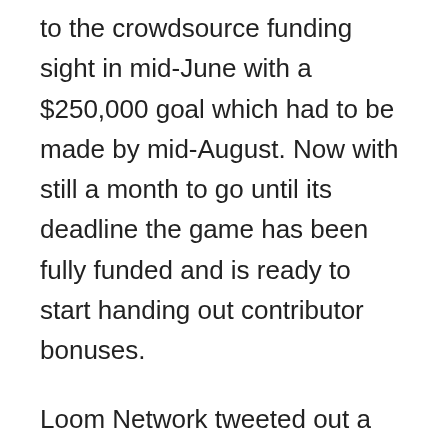to the crowdsource funding sight in mid-June with a $250,000 goal which had to be made by mid-August. Now with still a month to go until its deadline the game has been fully funded and is ready to start handing out contributor bonuses.
Loom Network tweeted out a round of congratulatory applause to its contributors for making the first mobile game to run entirely on a blockchain network happen.
? $250k FUNDING GOAL REACHED! ?
Zombie Battleground will be the FIRST mobile